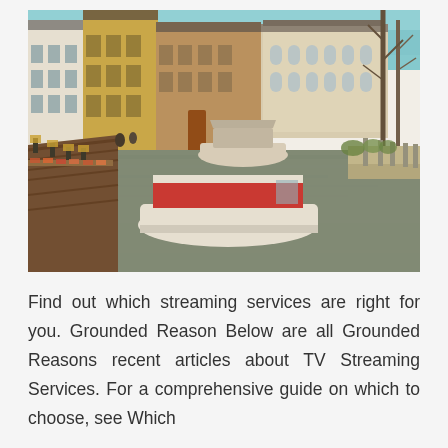[Figure (photo): A scenic canal in Bruges, Belgium, with historic brick and white-plastered buildings lining both sides. Two boats are on the water — a white boat with a red-trimmed roof in the foreground and another boat further back. A wooden dock/terrace with lanterns and flower boxes is visible on the left. Bare trees and a large white classical building are on the right. Sky is blue-teal with a vintage/warm filter applied.]
Find out which streaming services are right for you. Grounded Reason Below are all Grounded Reasons recent articles about TV Streaming Services. For a comprehensive guide on which to choose, see Which